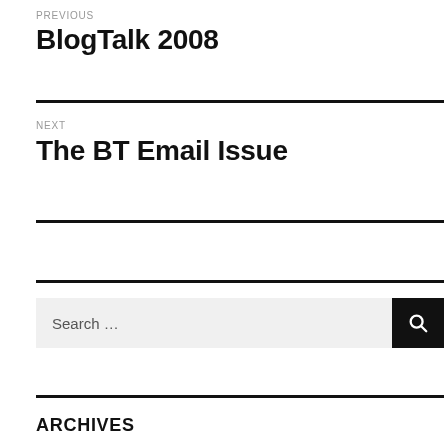PREVIOUS
BlogTalk 2008
NEXT
The BT Email Issue
Search …
ARCHIVES